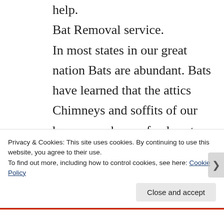help.
Bat Removal service.
In most states in our great nation Bats are abundant. Bats have learned that the attics Chimneys and soffits of our homes can be a safe place to have babies and live. Bat Removal Service is only the first step. Exclusion of the Bats in the attic is Paramount to
Privacy & Cookies: This site uses cookies. By continuing to use this website, you agree to their use.
To find out more, including how to control cookies, see here: Cookie Policy
Close and accept